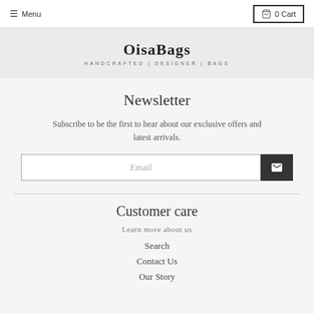☰ Menu   🛒 0 Cart
[Figure (logo): OisaBags logo with tagline HANDCRAFTED | DESIGNER | BAGS]
Newsletter
Subscribe to be the first to hear about our exclusive offers and latest arrivals.
Customer care
Learn more about us
Search
Contact Us
Our Story